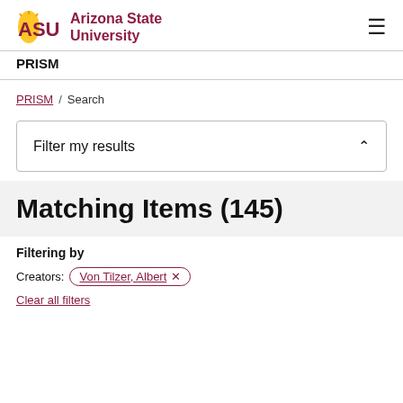ASU Arizona State University | PRISM
PRISM / Search
Filter my results
Matching Items (145)
Filtering by
Creators: Von Tilzer, Albert ×
Clear all filters